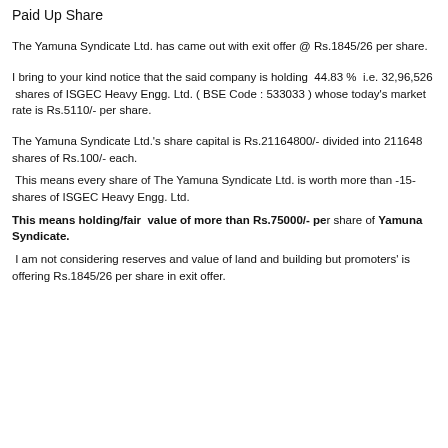Paid Up Share
The Yamuna Syndicate Ltd. has came out with exit offer @ Rs.1845/26 per share.
I bring to your kind notice that the said company is holding  44.83 %  i.e. 32,96,526  shares of ISGEC Heavy Engg. Ltd. ( BSE Code : 533033 ) whose today's market rate is Rs.5110/- per share.
The Yamuna Syndicate Ltd.'s share capital is Rs.21164800/- divided into 211648 shares of Rs.100/- each.
This means every share of The Yamuna Syndicate Ltd. is worth more than -15- shares of ISGEC Heavy Engg. Ltd.
This means holding/fair  value of more than Rs.75000/- per share of Yamuna Syndicate.
I am not considering reserves and value of land and building but promoters' is offering Rs.1845/26 per share in exit offer.